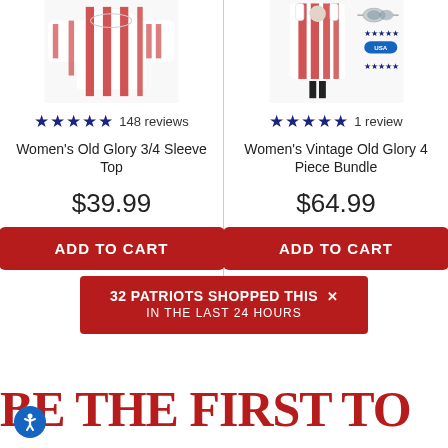[Figure (photo): Women's Old Glory 3/4 Sleeve Top product image showing American flag pattern shirt]
[Figure (photo): Women's Vintage Old Glory 4 Piece Bundle product image with flag tank top, sunglasses, bracelet and star rating accessories]
★★★★★ 148 reviews
★★★★★ 1 review
Women's Old Glory 3/4 Sleeve Top
Women's Vintage Old Glory 4 Piece Bundle
$39.99
$64.99
ADD TO CART
ADD TO CART
32 PATRIOTS SHOPPED THIS × IN THE LAST 24 HOURS
BE THE FIRST TO